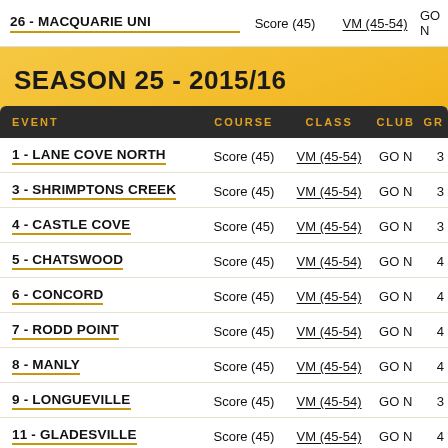| EVENT | COURSE | CLASS | CLUB | GR |
| --- | --- | --- | --- | --- |
| 26 - MACQUARIE UNI | Score (45) | VM (45-54) | GO N |  |
| 1 - LANE COVE NORTH | Score (45) | VM (45-54) | GO N | 3 |
| 3 - SHRIMPTONS CREEK | Score (45) | VM (45-54) | GO N | 3 |
| 4 - CASTLE COVE | Score (45) | VM (45-54) | GO N | 3 |
| 5 - CHATSWOOD | Score (45) | VM (45-54) | GO N | 4 |
| 6 - CONCORD | Score (45) | VM (45-54) | GO N | 4 |
| 7 - RODD POINT | Score (45) | VM (45-54) | GO N | 4 |
| 8 - MANLY | Score (45) | VM (45-54) | GO N | 4 |
| 9 - LONGUEVILLE | Score (45) | VM (45-54) | GO N | 3 |
| 11 - GLADESVILLE | Score (45) | VM (45-54) | GO N | 4 |
SEASON 25 - 2015/16